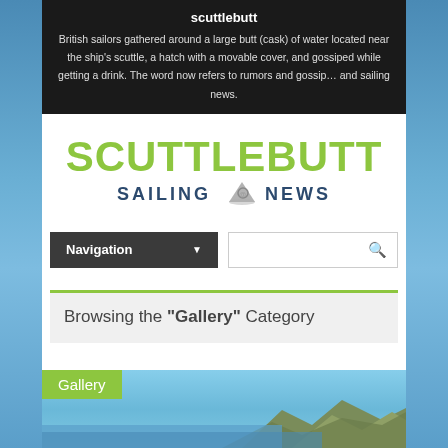scuttlebutt
British sailors gathered around a large butt (cask) of water located near the ship's scuttle, a hatch with a movable cover, and gossiped while getting a drink. The word now refers to rumors and gossip... and sailing news.
[Figure (logo): Scuttlebutt Sailing News logo with green SCUTTLEBUTT text and dark blue SAILING NEWS text with a sailboat icon]
[Figure (screenshot): Navigation dropdown bar and search box UI elements]
Browsing the "Gallery" Category
[Figure (photo): Gallery photo showing ocean water and hills/mountains]